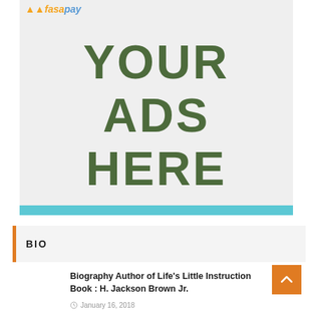[Figure (logo): FasaPay logo with orange speed lines and two-tone text]
[Figure (infographic): Advertisement placeholder with light gray background showing 'YOUR ADS HERE' in large dark green bold text, with a FasaPay logo in the top left and a teal blue bar at the bottom]
BIO
Biography Author of Life's Little Instruction Book : H. Jackson Brown Jr.
January 16, 2018